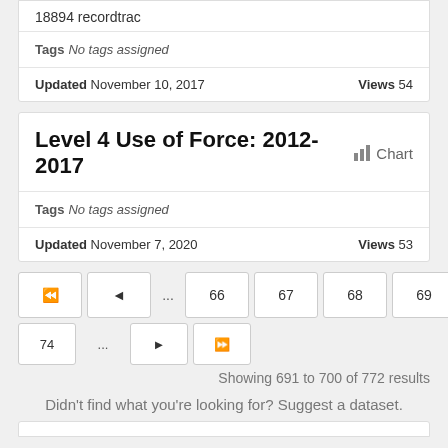18894 recordtrac
Tags  No tags assigned
Updated November 10, 2017    Views 54
Level 4 Use of Force: 2012-2017
Tags  No tags assigned
Updated November 7, 2020    Views 53
«  ‹  ...  66  67  68  69  70  71  72  73
74  ...  ►  ►►
Showing 691 to 700 of 772 results
Didn't find what you're looking for? Suggest a dataset.